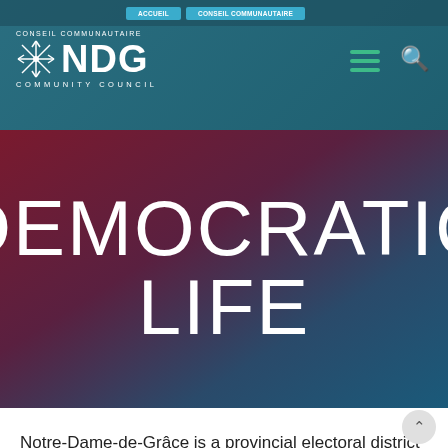CONSEIL COMMUNAUTAIRE NDG COMMUNITY COUNCIL
[Figure (screenshot): NDG Community Council website header with logo (snowflake icon, NDG text), navigation bar with teal buttons, hamburger menu icon, and search icon on teal background]
DEMOCRATIC LIFE
Notre-Dame-de-Grâce is a provincial electoral district in the Montreal region of Quebec, Canada, that elects members to the National Assembly of Quebec. It comprises the city of Montreal West and part of the Côte-des-Neiges–Notre-Dame-de-Grâce borough of the city of Montreal. It was created for the 1966 election from the part of the Montréal–Notre-Dame-de-Grâce